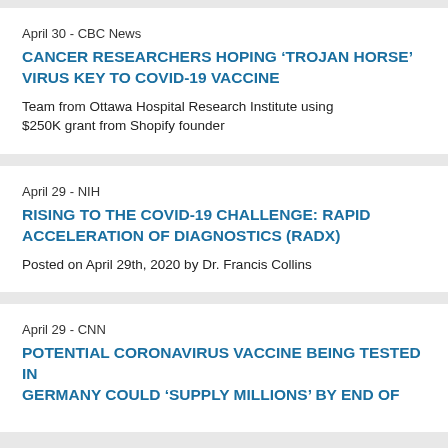April 30 - CBC News
CANCER RESEARCHERS HOPING ‘TROJAN HORSE’ VIRUS KEY TO COVID-19 VACCINE
Team from Ottawa Hospital Research Institute using $250K grant from Shopify founder
April 29 - NIH
RISING TO THE COVID-19 CHALLENGE: RAPID ACCELERATION OF DIAGNOSTICS (RADX)
Posted on April 29th, 2020 by Dr. Francis Collins
April 29 - CNN
POTENTIAL CORONAVIRUS VACCINE BEING TESTED IN GERMANY COULD ‘SUPPLY MILLIONS’ BY END OF